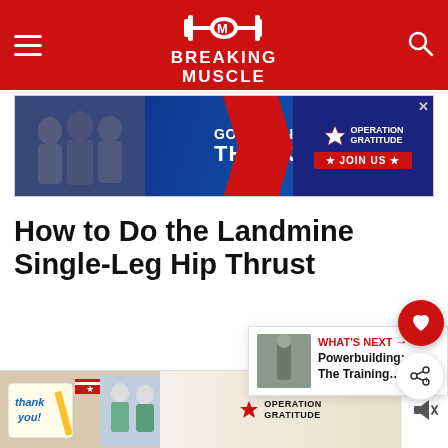Breaking Muscle
[Figure (screenshot): Operation Gratitude advertisement banner: 'Go Beyond Saying Thank You' with people in background and Operation Gratitude logo]
How to Do the Landmine Single-Leg Hip Thrust
[Figure (photo): What's Next sidebar: Powerbuilding: The Training... with thumbnail of person]
Set up a flat bench parallel to the sleeve of a lan...ck
[Figure (screenshot): Operation Gratitude bottom advertisement banner with 'Thank you' text and medical workers]